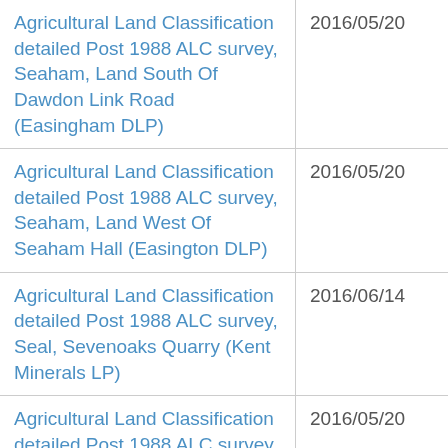| Document | Date |
| --- | --- |
| Agricultural Land Classification detailed Post 1988 ALC survey, Seaham, Land South Of Dawdon Link Road (Easingham DLP) | 2016/05/20 |
| Agricultural Land Classification detailed Post 1988 ALC survey, Seaham, Land West Of Seaham Hall (Easington DLP) | 2016/05/20 |
| Agricultural Land Classification detailed Post 1988 ALC survey, Seal, Sevenoaks Quarry (Kent Minerals LP) | 2016/06/14 |
| Agricultural Land Classification detailed Post 1988 ALC survey, | 2016/05/20 |